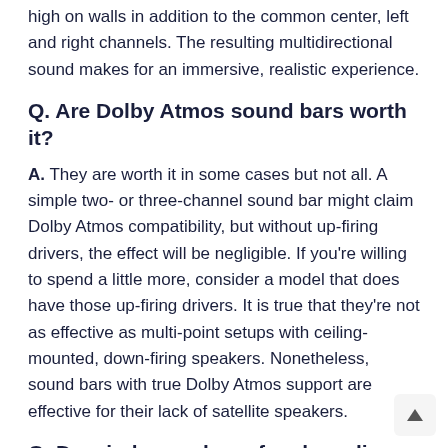high on walls in addition to the common center, left and right channels. The resulting multidirectional sound makes for an immersive, realistic experience.
Q. Are Dolby Atmos sound bars worth it?
A. They are worth it in some cases but not all. A simple two- or three-channel sound bar might claim Dolby Atmos compatibility, but without up-firing drivers, the effect will be negligible. If you're willing to spend a little more, consider a model that does have those up-firing drivers. It is true that they're not as effective as multi-point setups with ceiling-mounted, down-firing speakers. Nonetheless, sound bars with true Dolby Atmos support are effective for their lack of satellite speakers.
Q. Do wireless subwoofers have lip-sync delay issues?